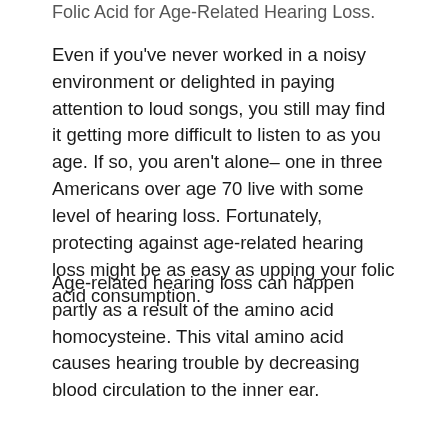Folic Acid for Age-Related Hearing Loss.
Even if you've never worked in a noisy environment or delighted in paying attention to loud songs, you still may find it getting more difficult to listen to as you age. If so, you aren't alone– one in three Americans over age 70 live with some level of hearing loss. Fortunately, protecting against age-related hearing loss might be as easy as upping your folic acid consumption.
Age-related hearing loss can happen partly as a result of the amino acid homocysteine. This vital amino acid causes hearing trouble by decreasing blood circulation to the inner ear.